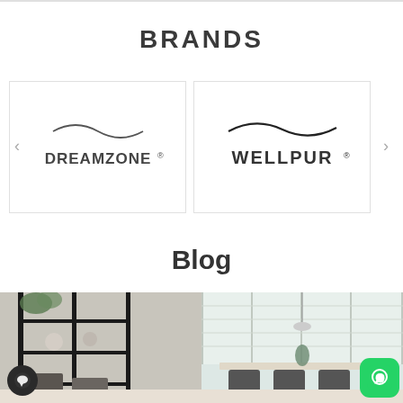BRANDS
[Figure (logo): DREAMZONE brand logo with wavy line above text]
[Figure (logo): WELLPUR brand logo with wavy line above text]
Blog
[Figure (photo): Blog section showing two interior photos - left: dark metal shelving unit with decor, right: bright dining room with chairs and plants]